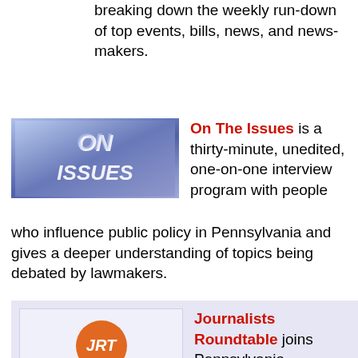breaking down the weekly run-down of top events, bills, news, and news-makers.
[Figure (logo): On The Issues logo — blue/purple 3D text reading 'ON ISSUES']
On The Issues is a thirty-minute, unedited, one-on-one interview program with people who influence public policy in Pennsylvania and gives a deeper understanding of topics being debated by lawmakers.
[Figure (logo): Journalists Roundtable logo — orange circle with 'JRT' initials and text 'Journalists Roundtable' below]
Journalists Roundtable joins Pennsylvania journalists to discuss the top political news of the week, examining the ins-and-outs of policy, politics and current events to provide detail, background and analysis on hot-button topics